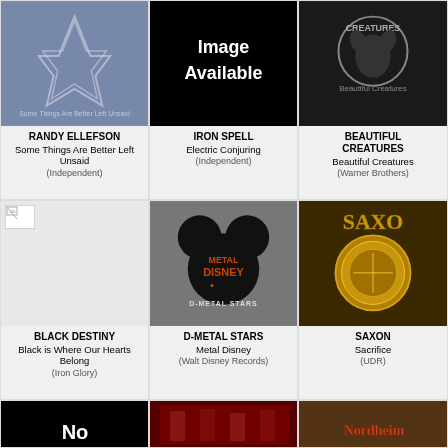[Figure (illustration): Album cover for Randy Ellefson - Some Things Are Better Left Unsaid, blue/silver abstract design]
RANDY ELLEFSON
Some Things Are Better Left Unsaid
(Independent)
[Figure (illustration): Black image with text 'Image Available']
IRON SPELL
Electric Conjuring
(Independent)
[Figure (illustration): Album cover for Beautiful Creatures - Beautiful Creatures, dark creature image]
BEAUTIFUL CREATURES
Beautiful Creatures
(Warner Brothers)
[Figure (photo): Broken image placeholder]
BLACK DESTINY
Black is Where Our Hearts Belong
(Iron Glory)
[Figure (illustration): D-Metal Stars Metal Disney album cover with Mickey Mouse ears silhouette and orange metal lettering]
D-METAL STARS
Metal Disney
(Walt Disney Records)
[Figure (illustration): Saxon - Sacrifice album cover with golden ornate shield/coin design]
SAXON
Sacrifice
(UDR)
[Figure (photo): Partial black album cover with 'No' text visible at bottom]
[Figure (photo): Partial album cover with red/dark band imagery]
[Figure (photo): Partial album cover with Nordheim text in gothic lettering on brown/dark background]